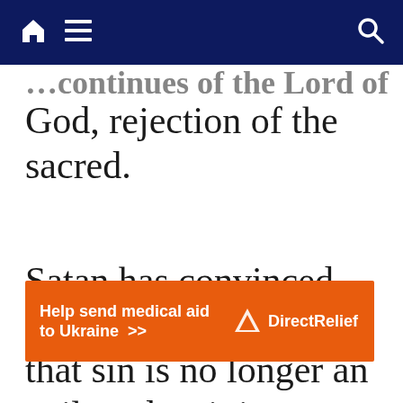[navigation bar with home, menu, and search icons]
…[partially visible text above]…
God, rejection of the sacred.
Satan has convinced millions of Catholics that sin is no longer an evil, and so it is justified and
[Figure (other): Orange advertisement banner: 'Help send medical aid to Ukraine >>' with Direct Relief logo on the right]